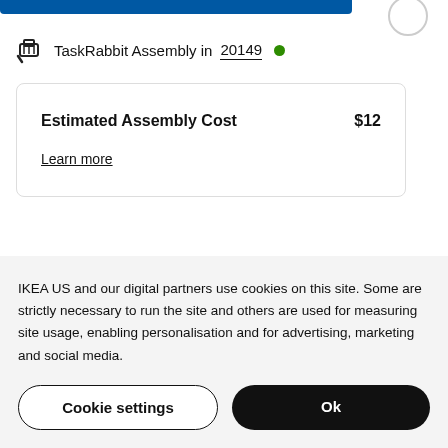[Figure (screenshot): Partial blue button/bar at top of page and circular icon at top right]
TaskRabbit Assembly in 20149 •
| Estimated Assembly Cost | $12 |
| --- | --- |
| Learn more |  |
IKEA US and our digital partners use cookies on this site. Some are strictly necessary to run the site and others are used for measuring site usage, enabling personalisation and for advertising, marketing and social media.
Cookie settings
Ok